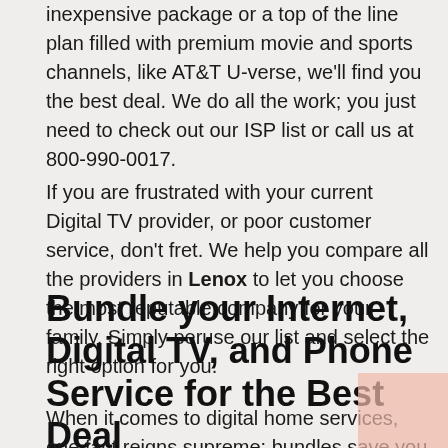inexpensive package or a top of the line plan filled with premium movie and sports channels, like AT&T U-verse, we'll find you the best deal. We do all the work; you just need to check out our ISP list or call us at 800-990-0017.
If you are frustrated with your current Digital TV provider, or poor customer service, don't fret. We help you compare all the providers in Lenox to let you choose the most reputable company for your family. Simply peruse our list and select the right option for you.
Bundle your Internet, Digital TV, and Phone Service for the Best Deal
When it comes to digital home services, one fact reigns supreme: bundles save you money! Nearly all providers